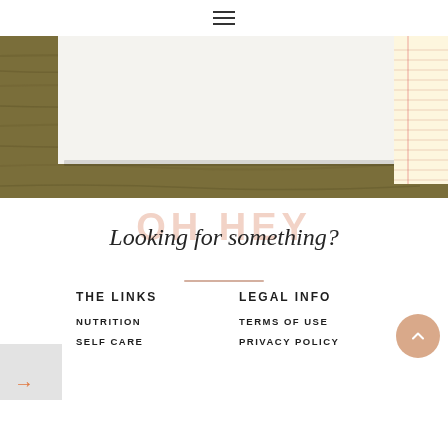☰ (hamburger menu icon)
[Figure (photo): Hero image showing a wood table surface with a white paper/envelope and a lined notepad on the right edge]
OH HEY
Looking for something?
THE LINKS
LEGAL INFO
NUTRITION
SELF CARE
TERMS OF USE
PRIVACY POLICY